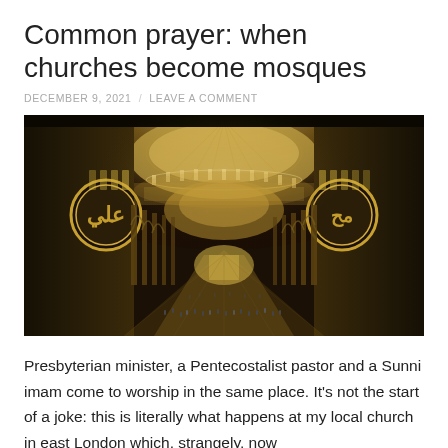Common prayer: when churches become mosques
DECEMBER 9, 2021 / LEAVE A COMMENT
[Figure (photo): Interior of Hagia Sophia showing the grand Byzantine dome with Islamic calligraphic roundels, ornate mosaics, arched colonnades, and tourists on the floor below.]
Presbyterian minister, a Pentecostalist pastor and a Sunni imam come to worship in the same place. It's not the start of a joke: this is literally what happens at my local church in east London which, strangely, now